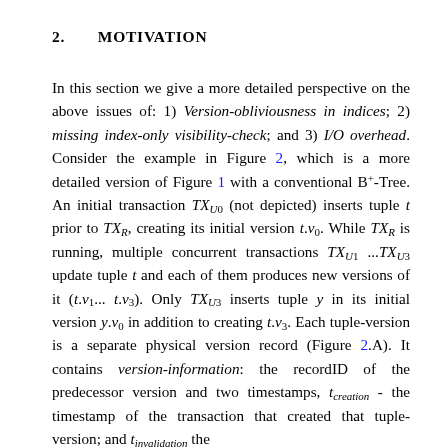2.    MOTIVATION
In this section we give a more detailed perspective on the above issues of: 1) Version-obliviousness in indices; 2) missing index-only visibility-check; and 3) I/O overhead. Consider the example in Figure 2, which is a more detailed version of Figure 1 with a conventional B+-Tree. An initial transaction TX_{U0} (not depicted) inserts tuple t prior to TX_R, creating its initial version t.v_0. While TX_R is running, multiple concurrent transactions TX_{U1} ...TX_{U3} update tuple t and each of them produces new versions of it (t.v_1...t.v_3). Only TX_{U3} inserts tuple y in its initial version y.v_0 in addition to creating t.v_3. Each tuple-version is a separate physical version record (Figure 2.A). It contains version-information: the recordID of the predecessor version and two timestamps, t_{creation} - the timestamp of the transaction that created that tuple-version; and t_{invalidation} the